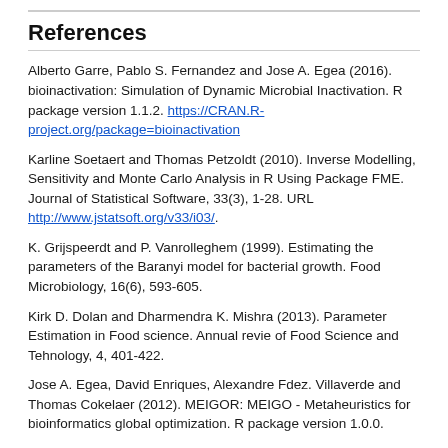References
Alberto Garre, Pablo S. Fernandez and Jose A. Egea (2016). bioinactivation: Simulation of Dynamic Microbial Inactivation. R package version 1.1.2. https://CRAN.R-project.org/package=bioinactivation
Karline Soetaert and Thomas Petzoldt (2010). Inverse Modelling, Sensitivity and Monte Carlo Analysis in R Using Package FME. Journal of Statistical Software, 33(3), 1-28. URL http://www.jstatsoft.org/v33/i03/.
K. Grijspeerdt and P. Vanrolleghem (1999). Estimating the parameters of the Baranyi model for bacterial growth. Food Microbiology, 16(6), 593-605.
Kirk D. Dolan and Dharmendra K. Mishra (2013). Parameter Estimation in Food science. Annual revie of Food Science and Tehnology, 4, 401-422.
Jose A. Egea, David Enriques, Alexandre Fdez. Villaverde and Thomas Cokelaer (2012). MEIGOR: MEIGO - Metaheuristics for bioinformatics global optimization. R package version 1.0.0.